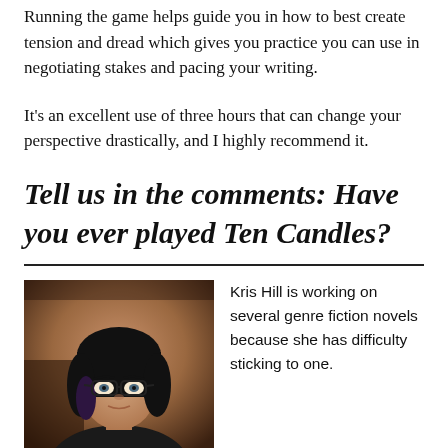Running the game helps guide you in how to best create tension and dread which gives you practice you can use in negotiating stakes and pacing your writing.
It's an excellent use of three hours that can change your perspective drastically, and I highly recommend it.
Tell us in the comments: Have you ever played Ten Candles?
[Figure (photo): Portrait photo of Kris Hill, a woman with dark hair and glasses, seated in front of a brown leather background.]
Kris Hill is working on several genre fiction novels because she has difficulty sticking to one.